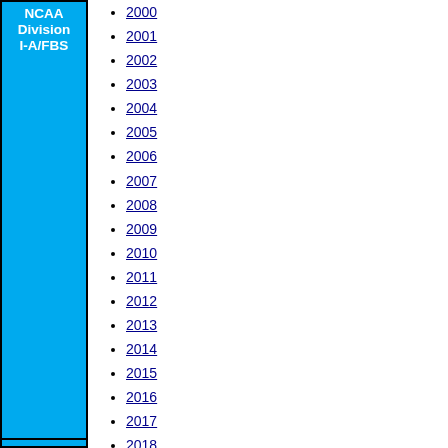NCAA Division I-A/FBS
2000
2001
2002
2003
2004
2005
2006
2007
2008
2009
2010
2011
2012
2013
2014
2015
2016
2017
2018
2019
2020
2021
2022
1978